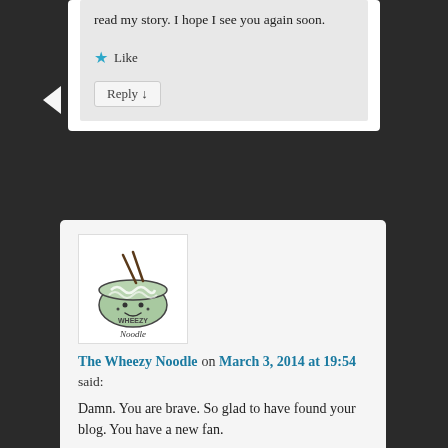read my story. I hope I see you again soon.
Like
Reply ↓
[Figure (illustration): Avatar image of The Wheezy Noodle blog - a cartoon bowl of noodles with chopsticks and a cute face, labeled 'Wheezy Noodle']
The Wheezy Noodle on March 3, 2014 at 19:54
said:
Damn. You are brave. So glad to have found your blog. You have a new fan.
Like
Reply ↓